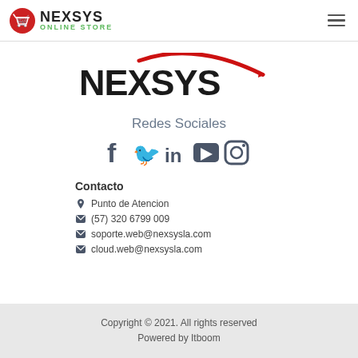NEXSYS ONLINE STORE
[Figure (logo): Nexsys brand logo with red arc swoosh and bold black NEXSYS text]
Redes Sociales
[Figure (infographic): Social media icons: Facebook, Twitter, LinkedIn, YouTube, Instagram]
Contacto
Punto de Atencion
(57) 320 6799 009
soporte.web@nexsysla.com
cloud.web@nexsysla.com
Copyright © 2021. All rights reserved
Powered by Itboom